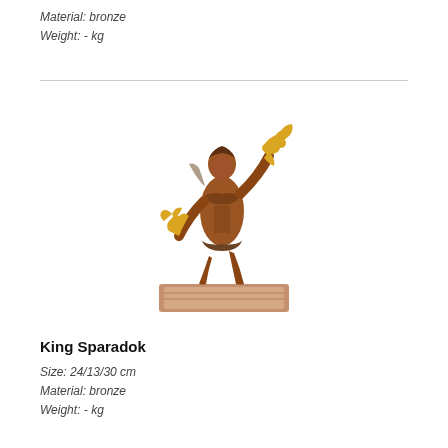Material: bronze
Weight: - kg
[Figure (photo): Bronze sculpture of a muscular male figure (King Sparadok) holding birds, mounted on a rectangular wooden base. The figure has a reddish-brown patina with gold highlights.]
King Sparadok
Size: 24/13/30 cm
Material: bronze
Weight: - kg